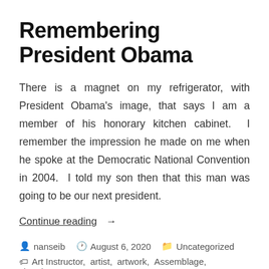Remembering President Obama
There is a magnet on my refrigerator, with President Obama's image, that says I am a member of his honorary kitchen cabinet.  I remember the impression he made on me when he spoke at the Democratic National Convention in 2004.  I told my son then that this man was going to be our next president.
Continue reading →
nanseib  August 6, 2020  Uncategorized  Art Instructor, artist, artwork, Assemblage, cigar boxes,